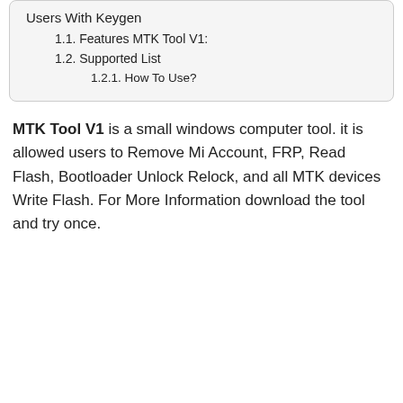Users With Keygen
1.1. Features MTK Tool V1:
1.2. Supported List
1.2.1. How To Use?
MTK Tool V1 is a small windows computer tool. it is allowed users to Remove Mi Account, FRP, Read Flash, Bootloader Unlock Relock, and all MTK devices Write Flash. For More Information download the tool and try once.